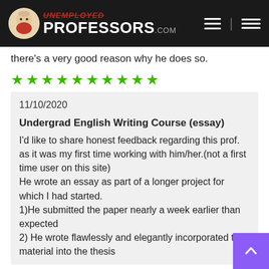UnemployedProfessors.com
there's a very good reason why he does so.
[Figure (other): Ten green star rating icons in a row]
11/10/2020
Undergrad English Writing Course (essay)
I'd like to share honest feedback regarding this prof. as it was my first time working with him/her.(not a first time user on this site)
He wrote an essay as part of a longer project for which I had started.
1)He submitted the paper nearly a week earlier than expected
2) He wrote flawlessly and elegantly incorporated the material into the thesis